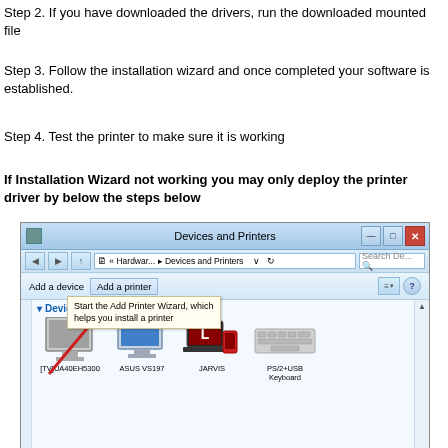Step 2. If you have downloaded the drivers, run the downloaded mounted file
Step 3. Follow the installation wizard and once completed your software is established.
Step 4. Test the printer to make sure it is working
If Installation Wizard not working you may only deploy the printer driver by below the steps below
[Figure (screenshot): Windows 7 Devices and Printers window showing Add a printer button highlighted with a red arrow and tooltip 'Start the Add Printer Wizard, which helps you install a printer'. Devices shown include [TV]UA40EH5300, ASUS VS197, JARVIS, PS/2+USB Keyboard. A CD/DVD drive icon is partially visible at bottom.]